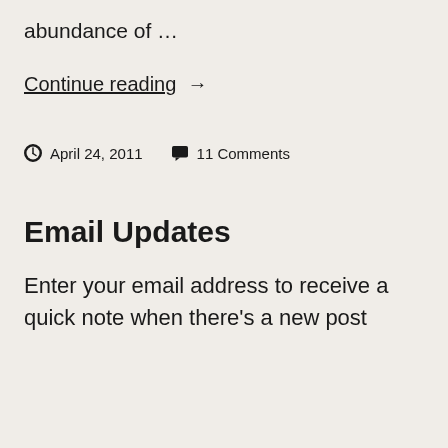abundance of …
Continue reading →
April 24, 2011   11 Comments
Email Updates
Enter your email address to receive a quick note when there's a new post